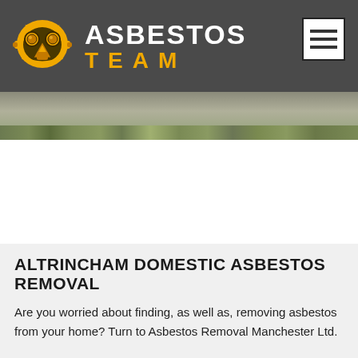[Figure (logo): Asbestos Team logo: yellow gas mask icon on dark grey header bar with white text ASBESTOS and gold text TEAM]
[Figure (photo): Hero image strip showing a house exterior with green foliage/trees along the roofline, grey sky background]
ALTRINCHAM DOMESTIC ASBESTOS REMOVAL
Are you worried about finding, as well as, removing asbestos from your home? Turn to Asbestos Removal Manchester Ltd.